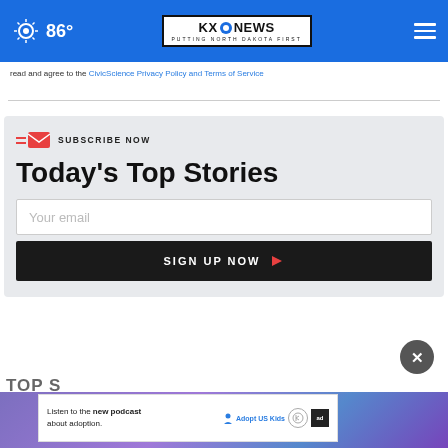86° KXO NEWS PUTTING NORTH DAKOTA FIRST
read and agree to the CivicScience Privacy Policy and Terms of Service
[Figure (screenshot): Subscribe Now newsletter signup box with email input and Sign Up Now button]
TOP S
[Figure (infographic): Bottom image strip with purple gradient and advertisement banner reading: Listen to the new podcast about adoption. Adopt US Kids logo and ad badge.]